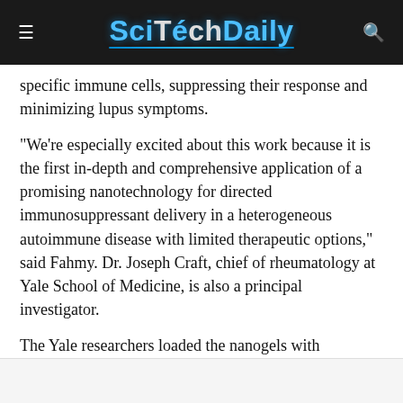SciTechDaily
specific immune cells, suppressing their response and minimizing lupus symptoms.
“We’re especially excited about this work because it is the first in-depth and comprehensive application of a promising nanotechnology for directed immunosuppressant delivery in a heterogeneous autoimmune disease with limited therapeutic options,” said Fahmy. Dr. Joseph Craft, chief of rheumatology at Yale School of Medicine, is also a principal investigator.
The Yale researchers loaded the nanogels with mycophenolic acid, a form of which is used in lupus patients.